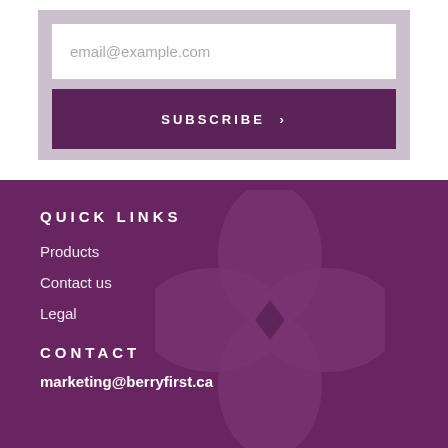email@example.com
SUBSCRIBE >
QUICK LINKS
Products
Contact us
Legal
CONTACT
marketing@berryfirst.ca